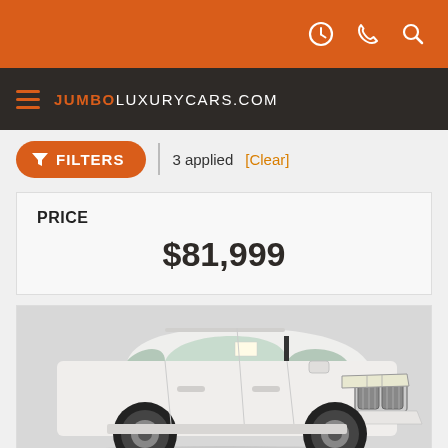JumboLuxuryCars.com - top navigation bar with clock, phone, search icons
JUMBOLUXURYCARS.COM
FILTERS  3 applied  [Clear]
PRICE
$81,999
[Figure (photo): White BMW X7 SUV photographed from a front three-quarter angle on a white/grey background, showing the large kidney grille, black wheels, and dealership sticker on the windshield.]